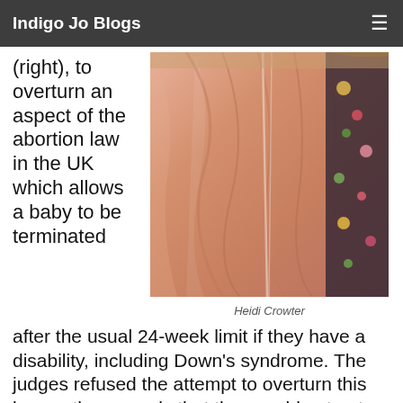Indigo Jo Blogs
(right), to overturn an aspect of the abortion law in the UK which allows a baby to be terminated
[Figure (photo): Photo of Heidi Crowter wearing a pink/salmon coloured jacket or coat]
Heidi Crowter
after the usual 24-week limit if they have a disability, including Down's syndrome. The judges refused the attempt to overturn this law on the grounds that they could not enter into controversies but could only decide in accordance with the law. Unlike in the US where a law can be overturned on constitutional grounds, in the UK judges can only rule according to the law; while a law can be